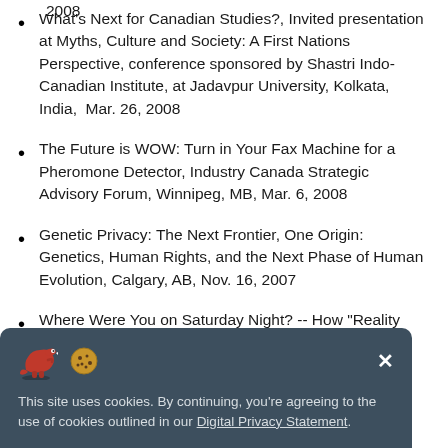2008
What's Next for Canadian Studies?, Invited presentation at Myths, Culture and Society: A First Nations Perspective, conference sponsored by Shastri Indo-Canadian Institute, at Jadavpur University, Kolkata, India,  Mar. 26, 2008
The Future is WOW: Turn in Your Fax Machine for a Pheromone Detector, Industry Canada Strategic Advisory Forum, Winnipeg, MB, Mar. 6, 2008
Genetic Privacy: The Next Frontier, One Origin: Genetics, Human Rights, and the Next Phase of Human Evolution, Calgary, AB, Nov. 16, 2007
Where Were You on Saturday Night? -- How "Reality
This site uses cookies. By continuing, you're agreeing to the use of cookies outlined in our Digital Privacy Statement.